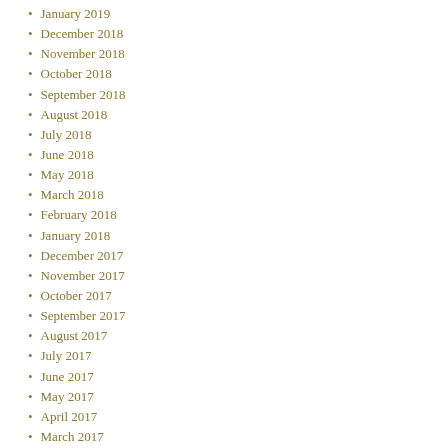January 2019
December 2018
November 2018
October 2018
September 2018
August 2018
July 2018
June 2018
May 2018
March 2018
February 2018
January 2018
December 2017
November 2017
October 2017
September 2017
August 2017
July 2017
June 2017
May 2017
April 2017
March 2017
February 2017
January 2017
December 2016
November 2016
October 2016